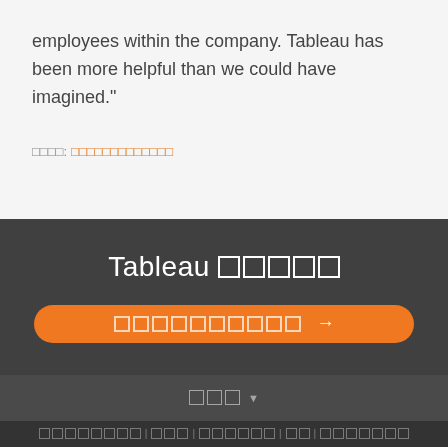employees within the company. Tableau has been more helpful than we could have imagined."
□□□□: □□□□□□□□□□□□□
Tableau □□□□□□
□□□□□□□□□□□ →
□□□ ▼
□□□□□□□□ □□□ □□□□□□ □□ □□□□□□□